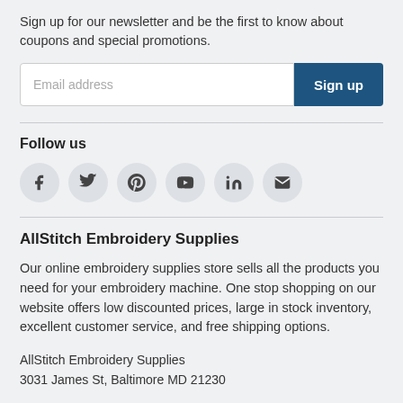Sign up for our newsletter and be the first to know about coupons and special promotions.
[Figure (screenshot): Email address input field and Sign up button]
Follow us
[Figure (infographic): Social media icons: Facebook, Twitter, Pinterest, YouTube, LinkedIn, Email]
AllStitch Embroidery Supplies
Our online embroidery supplies store sells all the products you need for your embroidery machine. One stop shopping on our website offers low discounted prices, large in stock inventory, excellent customer service, and free shipping options.
AllStitch Embroidery Supplies
3031 James St, Baltimore MD 21230